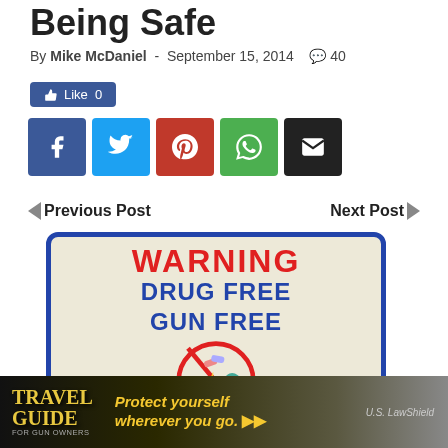Being Safe
By Mike McDaniel - September 15, 2014  40
[Figure (screenshot): Like button (Facebook style)]
[Figure (screenshot): Social sharing buttons: Facebook, Twitter, Pinterest, WhatsApp, Email]
◄ Previous Post    Next Post ►
[Figure (photo): Warning Drug Free Gun Free sign with no-drugs and no-guns symbol]
[Figure (photo): Travel Guide for Gun Owners advertisement banner - Protect yourself wherever you go.]